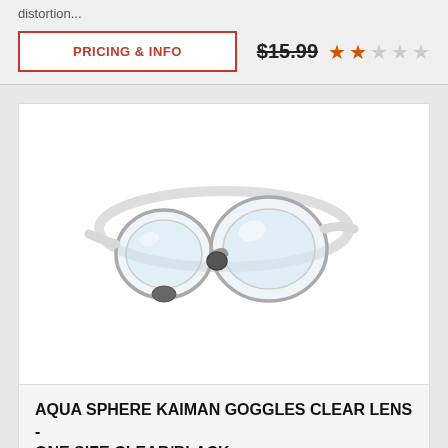distortion...
PRICING & INFO
$15.99
[Figure (photo): Aqua Sphere Kaiman swimming goggles with clear lenses and black accents, one size, clear/black colorway]
AQUA SPHERE KAIMAN GOGGLES CLEAR LENS - ONE SIZE CLEAR/BLACK